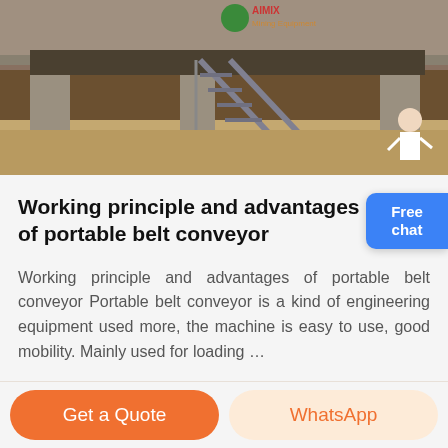[Figure (photo): Outdoor construction/industrial site showing concrete pillars, sandy ground, and metal staircase structure. Company logo visible at top.]
Working principle and advantages of portable belt conveyor
Working principle and advantages of portable belt conveyor Portable belt conveyor is a kind of engineering equipment used more, the machine is easy to use, good mobility. Mainly used for loading …
Get a Quote | WhatsApp